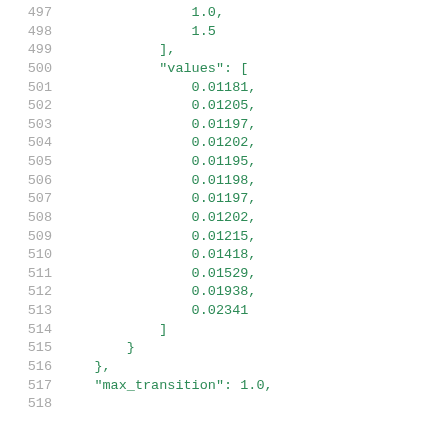497    1.0,
498    1.5
499    ],
500    "values": [
501        0.01181,
502        0.01205,
503        0.01197,
504        0.01202,
505        0.01195,
506        0.01198,
507        0.01197,
508        0.01202,
509        0.01215,
510        0.01418,
511        0.01529,
512        0.01938,
513        0.02341
514    ]
515    }
516    },
517    "max_transition": 1.0,
518    ...